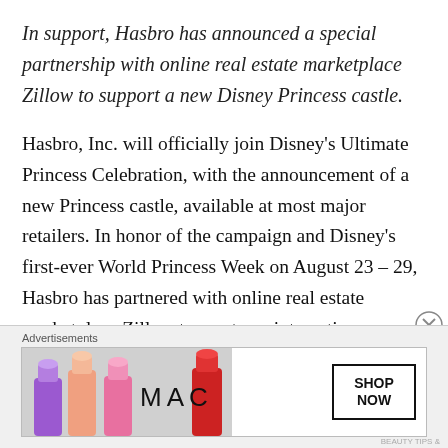In support, Hasbro has announced a special partnership with online real estate marketplace Zillow to support a new Disney Princess castle.
Hasbro, Inc. will officially join Disney's Ultimate Princess Celebration, with the announcement of a new Princess castle, available at most major retailers. In honor of the campaign and Disney's first-ever World Princess Week on August 23 – 29, Hasbro has partnered with online real estate marketplace Zillow to create an interactive
[Figure (other): MAC Cosmetics advertisement banner showing colorful lipsticks on the left, MAC logo in the center, and a SHOP NOW button on the right]